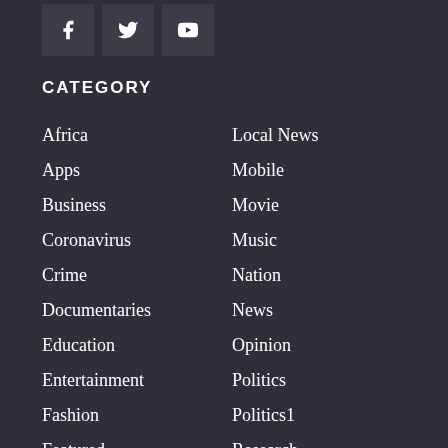[Figure (other): Social media icons for Facebook, Twitter, and YouTube]
CATEGORY
Africa
Apps
Business
Coronavirus
Crime
Documentaries
Education
Entertainment
Fashion
Featured
Food
Gadget
Gaming
Health
Local News
Mobile
Movie
Music
Nation
News
Opinion
Politics
Politics1
Research
Review
Science
Sports
Stars